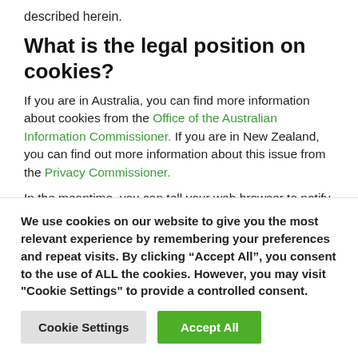described herein.
What is the legal position on cookies?
If you are in Australia, you can find more information about cookies from the Office of the Australian Information Commissioner. If you are in New Zealand, you can find out more information about this issue from the Privacy Commissioner.
In the meantime, you can tell your web browser to notify you whenever a website attempts to set a cookie. You can also tell
We use cookies on our website to give you the most relevant experience by remembering your preferences and repeat visits. By clicking “Accept All”, you consent to the use of ALL the cookies. However, you may visit "Cookie Settings" to provide a controlled consent.